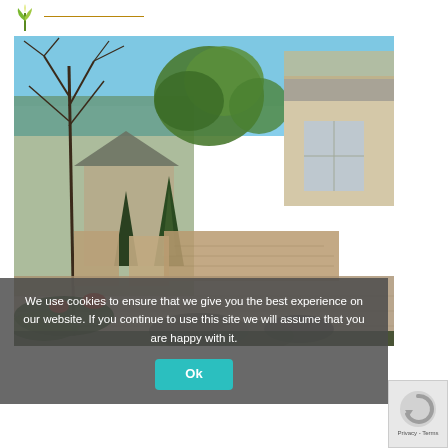[Figure (logo): Green plant/leaf logo icon with a horizontal gold/brown line extending to the right]
[Figure (photo): Outdoor landscaping photo showing a residential backyard with stone walls, paved patio, large trees, lush green plantings, and a house in the background]
We use cookies to ensure that we give you the best experience on our website. If you continue to use this site we will assume that you are happy with it.
Ok
[Figure (other): Google reCAPTCHA badge with circular arrow logo and 'Privacy - Terms' text]